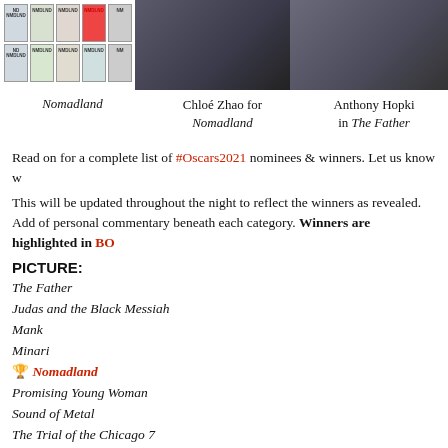[Figure (photo): Grid of Nomadland license plate images]
[Figure (photo): Photo of Chloé Zhao]
[Figure (photo): Photo of Anthony Hopkins]
Nomadland
Chloé Zhao for Nomadland
Anthony Hopkins in The Father
Read on for a complete list of #Oscars2021 nominees & winners. Let us know w
This will be updated throughout the night to reflect the winners as revealed. Add of personal commentary beneath each category. Winners are highlighted in BO
PICTURE:
The Father
Judas and the Black Messiah
Mank
Minari
🏆 Nomadland
Promising Young Woman
Sound of Metal
The Trial of the Chicago 7
Thoughts: Phew! I was nervous about some last minute upset, but this was on th very long awards season it's a relief to see it take home these two major Oscars.
DIRECTOR:
Thomas Vinterberg - Another Round
David Fincher - Mank
Lee Isaac Chung - Minari